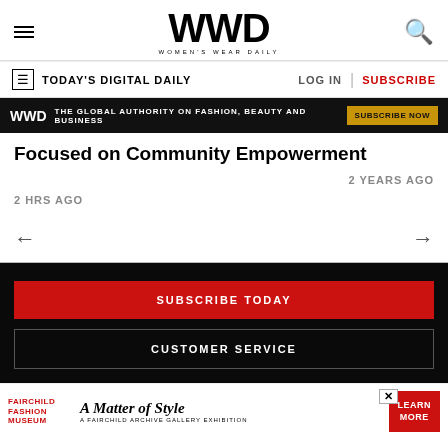WWD WOMEN'S WEAR DAILY
TODAY'S DIGITAL DAILY | LOG IN | SUBSCRIBE
[Figure (infographic): WWD dark ad banner: THE GLOBAL AUTHORITY ON FASHION, BEAUTY AND BUSINESS | SUBSCRIBE NOW]
Focused on Community Empowerment
2 YEARS AGO
2 HRS AGO
SUBSCRIBE TODAY
CUSTOMER SERVICE
[Figure (infographic): Bottom advertisement: Fairchild Fashion Museum - A Matter of Style - A Fairchild Archive Gallery Exhibition - LEARN MORE]